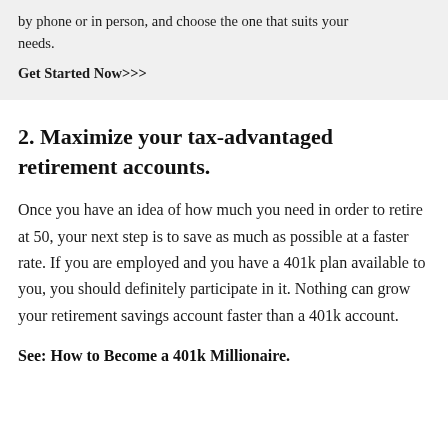by phone or in person, and choose the one that suits your needs.
Get Started Now>>>
2. Maximize your tax-advantaged retirement accounts.
Once you have an idea of how much you need in order to retire at 50, your next step is to save as much as possible at a faster rate. If you are employed and you have a 401k plan available to you, you should definitely participate in it. Nothing can grow your retirement savings account faster than a 401k account.
See: How to Become a 401k Millionaire.